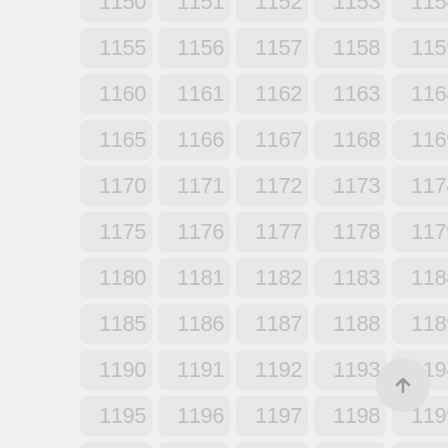[Figure (other): Grid of numbered cells from 1150 to 1204, arranged in 5 columns and 11 rows, with light gray rounded rectangle tiles on a light gray background. Each tile shows a number in light gray text. A circular scroll-to-top button is visible in the bottom right corner.]